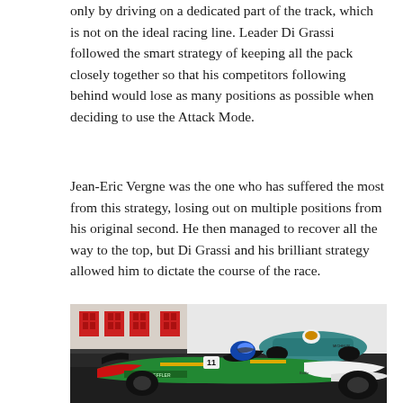only by driving on a dedicated part of the track, which is not on the ideal racing line. Leader Di Grassi followed the smart strategy of keeping all the pack closely together so that his competitors following behind would lose as many positions as possible when deciding to use the Attack Mode.
Jean-Eric Vergne was the one who has suffered the most from this strategy, losing out on multiple positions from his original second. He then managed to recover all the way to the top, but Di Grassi and his brilliant strategy allowed him to dictate the course of the race.
[Figure (photo): Formula E racing cars on track. In the foreground, an Audi/Schaeffler Formula E car (green and red livery with number 11) is prominently visible with a driver in cockpit. In the background, other Formula E cars including a teal/turquoise car are visible. ABB advertising boards are seen on the barriers. Michelin branding visible.]